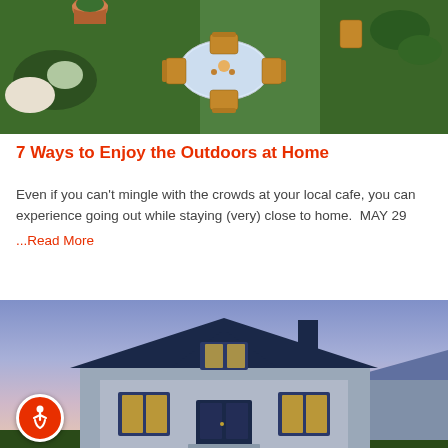[Figure (photo): Aerial view of outdoor garden dining setup with round table, wooden chairs, and lush green lawn with potted plants]
7 Ways to Enjoy the Outdoors at Home
Even if you can't mingle with the crowds at your local cafe, you can experience going out while staying (very) close to home.  MAY 29 ...Read More
[Figure (photo): Exterior photo of a blue house with white trim, lit windows, and a dusk sky with pink and blue hues]